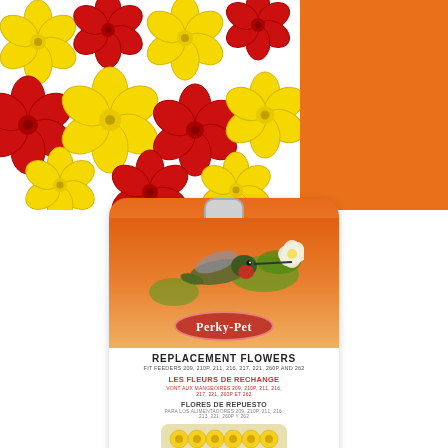[Figure (photo): Product image showing red and yellow plastic replacement flowers for hummingbird feeders on a white background, with an orange block in the top right. Below is the Perky-Pet branded product package card showing a hummingbird, the Perky-Pet logo, and text in English, French, and Spanish describing Replacement Flowers that fit feeders 209, 210P, 211, 216, 217, 221, 260P and 262, with yellow flower pieces shown at the bottom of the blister pack.]